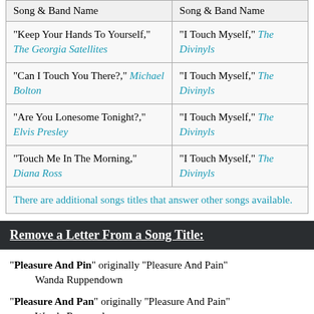| Song & Band Name | Song & Band Name |
| --- | --- |
| "Keep Your Hands To Yourself," The Georgia Satellites | "I Touch Myself," The Divinyls |
| "Can I Touch You There?," Michael Bolton | "I Touch Myself," The Divinyls |
| "Are You Lonesome Tonight?," Elvis Presley | "I Touch Myself," The Divinyls |
| "Touch Me In The Morning," Diana Ross | "I Touch Myself," The Divinyls |
| There are additional songs titles that answer other songs available. |  |
Remove a Letter From a Song Title:
"Pleasure And Pin" originally "Pleasure And Pain" Wanda Ruppendown
"Pleasure And Pan" originally "Pleasure And Pain" Wanda Ruppendown
"I Touch Myelf" originally "I Touch Myself"